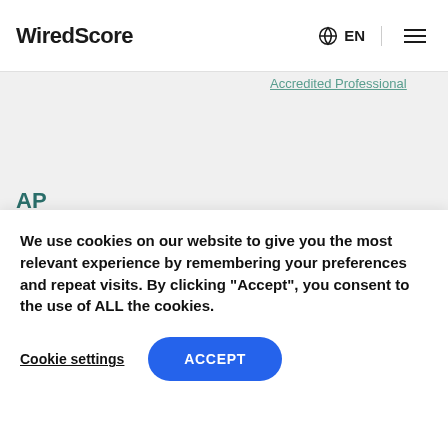WiredScore EN
Accredited Professional
AP
Accredited Professional, AP Stories
[Figure (illustration): Dark geometric banner with triangular pattern in greens and blacks]
We use cookies on our website to give you the most relevant experience by remembering your preferences and repeat visits. By clicking "Accept", you consent to the use of ALL the cookies.
Cookie settings  ACCEPT